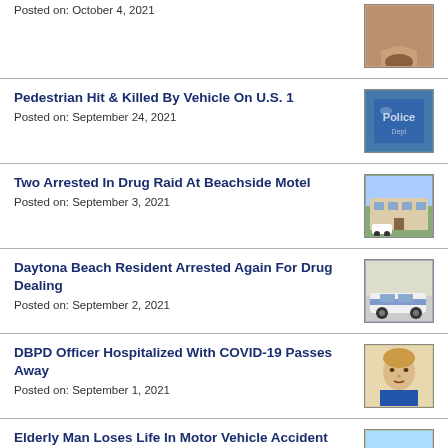Posted on: October 4, 2021
[Figure (photo): Partial mugshot photo of a person, cropped at top]
Pedestrian Hit & Killed By Vehicle On U.S. 1
Posted on: September 24, 2021
[Figure (photo): Police badge/logo close-up photo]
Two Arrested In Drug Raid At Beachside Motel
Posted on: September 3, 2021
[Figure (photo): Exterior of a motel building]
Daytona Beach Resident Arrested Again For Drug Dealing
Posted on: September 2, 2021
[Figure (photo): Police car parked outside a building]
DBPD Officer Hospitalized With COVID-19 Passes Away
Posted on: September 1, 2021
[Figure (photo): Headshot photo of a person]
Elderly Man Loses Life In Motor Vehicle Accident
Posted on: August 30, 2021
[Figure (photo): Police vehicle on grass]